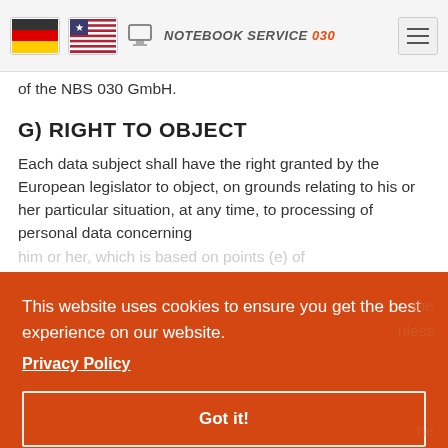NOTEBOOK SERVICE 030 [navigation bar with flags and hamburger menu]
of the NBS 030 GmbH.
G) RIGHT TO OBJECT
Each data subject shall have the right granted by the European legislator to object, on grounds relating to his or her particular situation, at any time, to processing of personal data concerning him or her, which is based on points (e) of [obscured]
This website uses cookies to ensure you get the best experience on our website. Privacy Policy
Got it!
interests, rights and freedoms of the data subject,